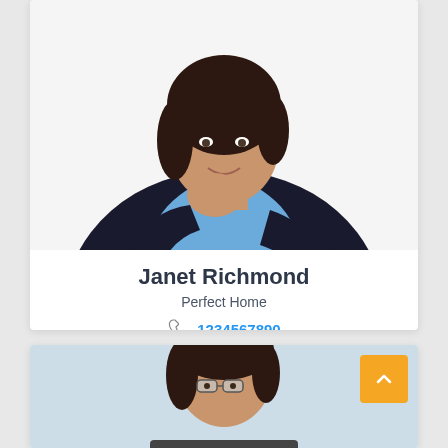[Figure (photo): Professional headshot of a woman in a dark blazer and blue shirt, seated, hand on chin, smiling, white background.]
Janet Richmond
Perfect Home
1234567890
[Figure (photo): Partial headshot of a woman with dark hair wearing glasses, blurred light background. A yellow scroll-to-top button with chevron icon is in the upper right corner.]